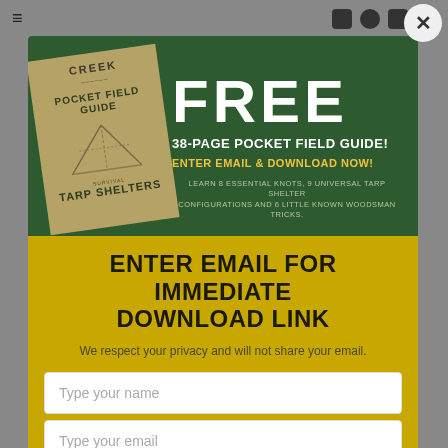[Figure (illustration): Promotional popup modal with a green banner showing a book cover titled 'Creek Pocket Field Guide - Survival Tarp Shelters' on the left and 'FREE 38-PAGE POCKET FIELD GUIDE! ENTER EMAIL & DOWNLOAD NOW!' text on the right on a dark green background. Below is a yellow/gold section with form fields.]
ENTER EMAIL for IMMEDIATE DOWNLOAD LINK
We respect your privacy and will not share your email.
Type your name
Type your email